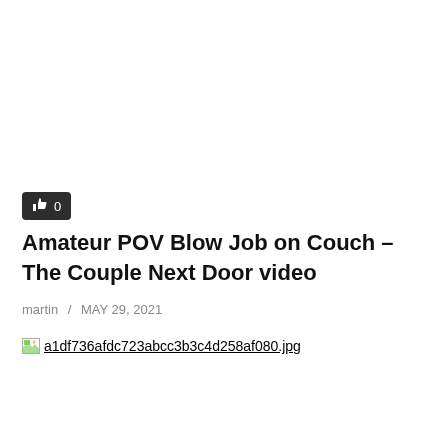[Figure (other): Like button with thumbs-up icon and count 0, dark background]
Amateur POV Blow Job on Couch – The Couple Next Door video
martin / MAY 29, 2021
[Figure (other): Broken image placeholder with filename a1df736afdc723abcc3b3c4d258af080.jpg]